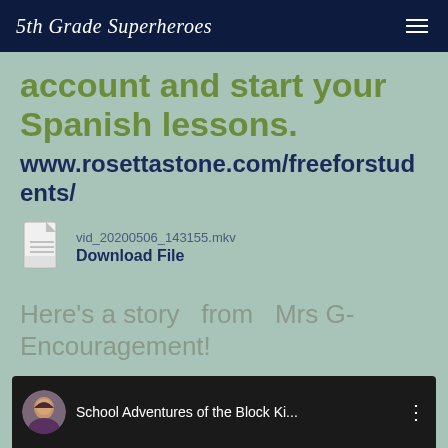5th Grade Superheroes
account and start your Spanish lessons.
www.rosettastone.com/freeforstudents/
vid_20200506_143155.mkv
Download File
Here's a story  from  Mrs G- Encouragement!
[Figure (screenshot): Video thumbnail showing School Adventures of the Block Ki... with a woman's avatar photo on a dark background]